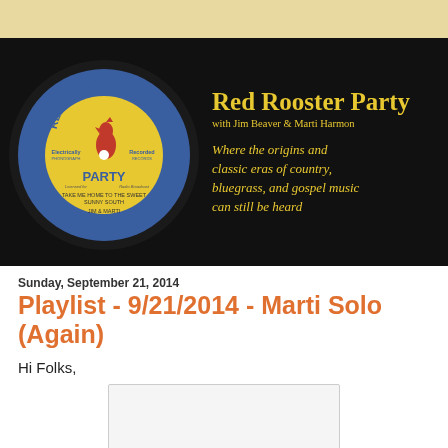[Figure (illustration): Red Rooster Party radio show banner with a vintage record label illustration. The record label is yellow with blue border, featuring a red rooster, text 'RED ROOSTER PARTY', 'Electrically Recorded', 'TAKE ME HOME TO THE SWEET SUNNY SOUTH', 'JIM & MARTI'. To the right: title 'Red Rooster Party', subtitle 'with Jim Beaver & Marti Harmon', italic description 'Where the origins and classic eras of country, bluegrass, and gospel music can still be heard'. All on black background.]
Sunday, September 21, 2014
Playlist - 9/21/2014 - Marti Solo (Again)
Hi Folks,
[Figure (other): Embedded media player or content box, light gray with border]